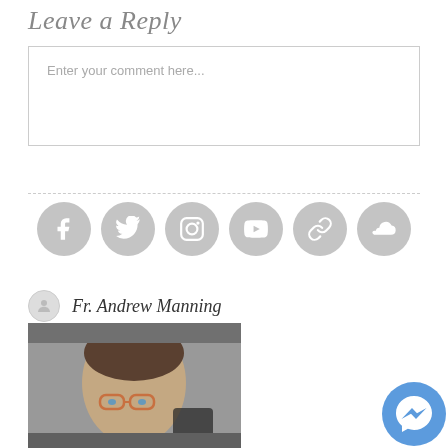Leave a Reply
Enter your comment here...
[Figure (infographic): Six social media icon circles in gray: Facebook, Twitter, Instagram, YouTube, a link/chain icon, and SoundCloud]
Fr. Andrew Manning
[Figure (photo): Headshot photo of Fr. Andrew Manning, a middle-aged man with short brown hair and glasses, photographed from the front in a vehicle]
[Figure (other): Blue Facebook Messenger floating button icon in the bottom right corner]